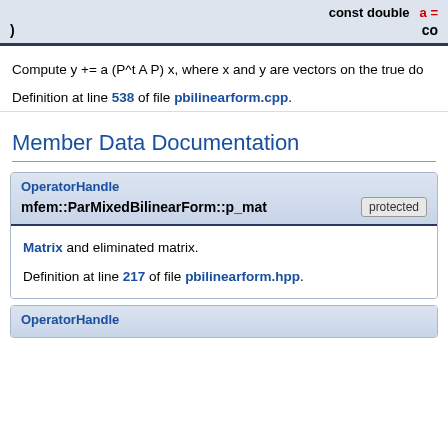| const double | a = |
| --- | --- |
| ) | co |
Compute y += a (P^t A P) x, where x and y are vectors on the true do
Definition at line 538 of file pbilinearform.cpp.
Member Data Documentation
OperatorHandle mfem::ParMixedBilinearForm::p_mat [protected]
Matrix and eliminated matrix.
Definition at line 217 of file pbilinearform.hpp.
OperatorHandle